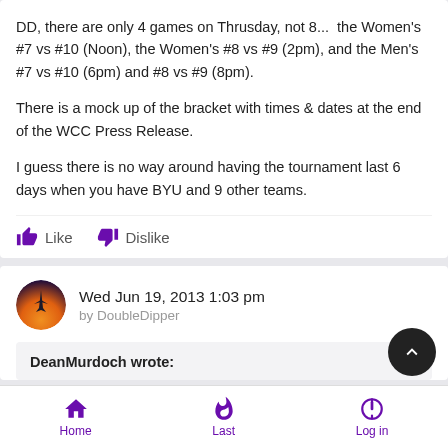DD, there are only 4 games on Thrusday, not 8...  the Women's #7 vs #10 (Noon), the Women's #8 vs #9 (2pm), and the Men's #7 vs #10 (6pm) and #8 vs #9 (8pm).

There is a mock up of the bracket with times & dates at the end of the WCC Press Release.

I guess there is no way around having the tournament last 6 days when you have BYU and 9 other teams.
Wed Jun 19, 2013 1:03 pm
by DoubleDipper
DeanMurdoch wrote:
Home   Last   Log in